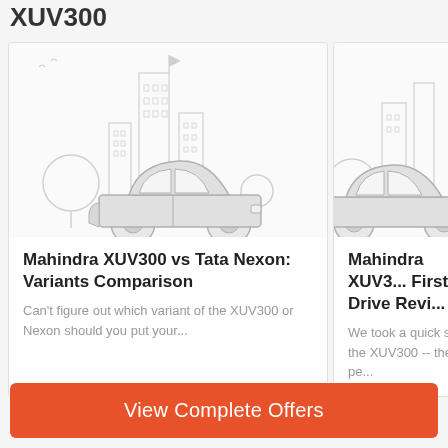XUV300
[Figure (illustration): Card with city skyline and sedan car illustration for article: Mahindra XUV300 vs Tata Nexon Variants Comparison]
Mahindra XUV300 vs Tata Nexon: Variants Comparison
Can't figure out which variant of the XUV300 or Nexon should you put your...
[Figure (illustration): Card with city skyline and sedan car illustration for article: Mahindra XUV300 First Drive Review]
Mahindra XUV3... First Drive Revi...
We took a quick spin... the XUV300 -- the pe...
View Complete Offers